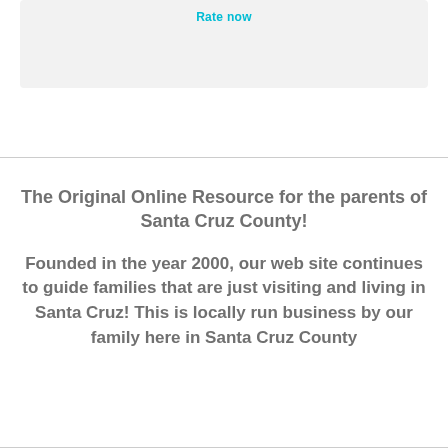Rate now
The Original Online Resource for the parents of Santa Cruz County!
Founded in the year 2000, our web site continues to guide families that are just visiting and living in Santa Cruz! This is locally run business by our family here in Santa Cruz County